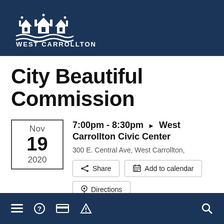[Figure (logo): West Carrollton city logo with house/building icons and wave lines, white on dark navy background, with text WEST CARROLLTON below]
City Beautiful Commission
Nov 19 2020  7:00pm - 8:30pm ▶ West Carrollton Civic Center  300 E. Central Ave, West Carrollton,
Share  Add to calendar  Directions
≡ ? ⊟ ⚠ 🔍